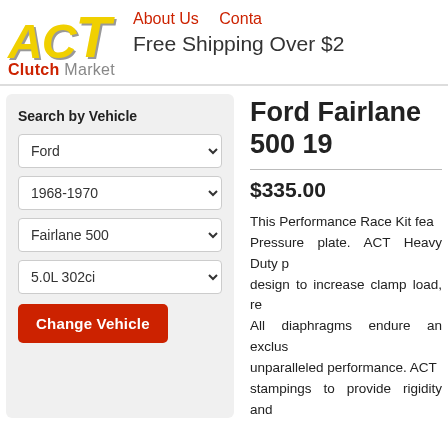[Figure (logo): ACT Clutch Market logo — stylized italic yellow ACT letters with gray shadow, red 'Clutch' and gray 'Market' subtitle]
About Us   Contact
Free Shipping Over $2
Search by Vehicle
Ford
1968-1970
Fairlane 500
5.0L 302ci
Change Vehicle
Ford Fairlane 500 19
$335.00
This Performance Race Kit fea... Pressure plate. ACT Heavy Duty p... design to increase clamp load, re... All diaphragms endure an exclus... unparalleled performance. ACT ... stampings to provide rigidity and ... are made with high quality, cera... hub is heat-treated for strength a...